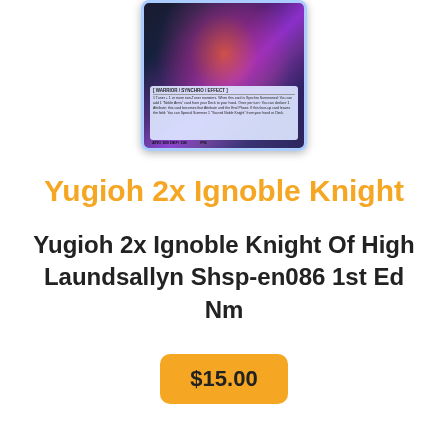[Figure (photo): Photo of a Yugioh trading card with purple/dark blue artwork showing a glowing figure, with a light blue border and text box at the bottom showing card stats.]
Yugioh 2x Ignoble Knight
Yugioh 2x Ignoble Knight Of High Laundsallyn Shsp-en086 1st Ed Nm
$15.00